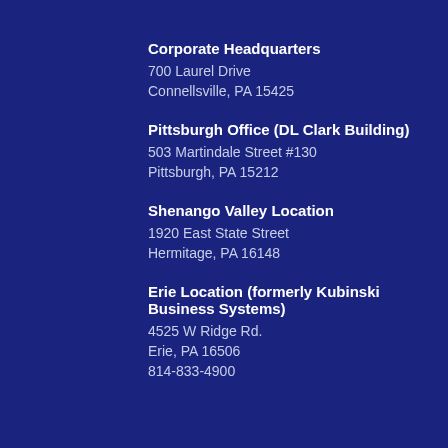Corporate Headquarters
700 Laurel Drive
Connellsville, PA 15425
Pittsburgh Office (DL Clark Building)
503 Martindale Street #130
Pittsburgh, PA 15212
Shenango Valley Location
1920 East State Street
Hermitage, PA 16148
Erie Location (formerly Kubinski Business Systems)
4525 W Ridge Rd.
Erie, PA 16506
814-833-4900